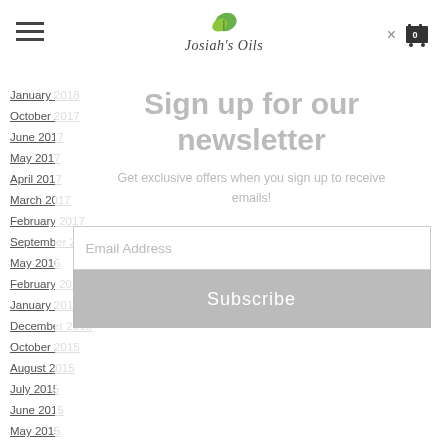Josiah's Oils
January 2018
October 2017
June 2017
May 2017
April 2017
March 2017
February 2017
September 2016
May 2016
February 2016
January 2016
December 2015
October 2015
August 2015
July 2015
June 2015
May 2015
April 2015
March 2015
Sign up for our newsletter
Get exclusive offers when you sign up to receive emails!